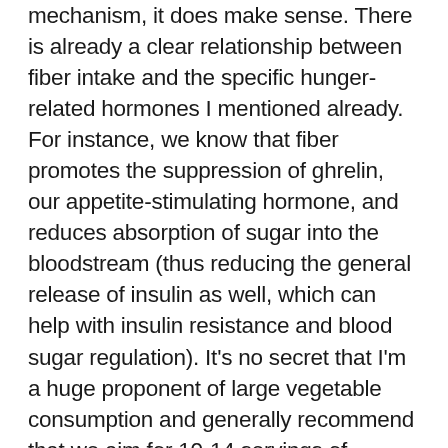mechanism, it does make sense. There is already a clear relationship between fiber intake and the specific hunger-related hormones I mentioned already. For instance, we know that fiber promotes the suppression of ghrelin, our appetite-stimulating hormone, and reduces absorption of sugar into the bloodstream (thus reducing the general release of insulin as well, which can help with insulin resistance and blood sugar regulation). It's no secret that I'm a huge proponent of large vegetable consumption and generally recommend that we aim for 10-14 servings of veggies per day (including a variety that hits several different colors, leafy greens, cruciferous veggies, and a few servings of starchy veggies in there too). I genuinely believe that the only way to meet our micronutrient needs is to prioritize vegetable consumption (of course, eating quality meat and seafood is important too). My Instagram